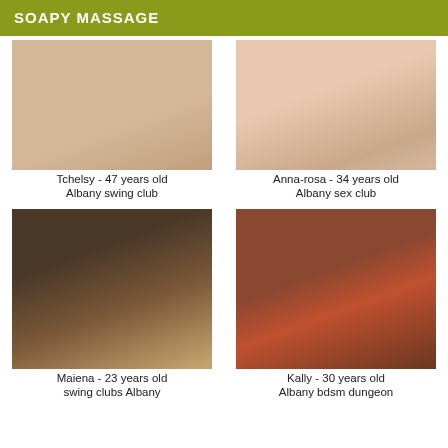SOAPY MASSAGE
[Figure (photo): Photo placeholder top left - massage/body image]
[Figure (photo): Photo placeholder top right - woman smiling]
Tchelsy - 47 years old
Anna-rosa - 34 years old
Albany swing club
Albany sex club
[Figure (photo): Young woman with long brown hair smiling - selfie style]
[Figure (photo): Woman in red dress standing in corridor, high heels]
Maiena - 23 years old
Kally - 30 years old
swing clubs Albany
Albany bdsm dungeon